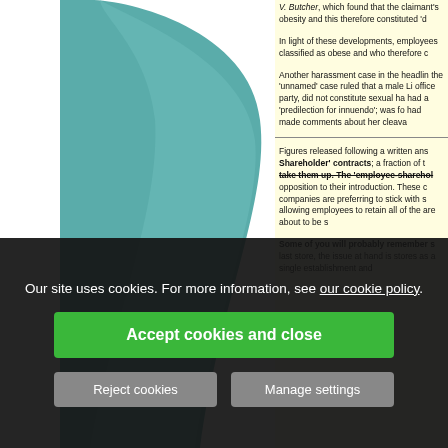[Figure (illustration): Decorative teal/green curved shape on white background, left side of page]
V. Butcher, which found that the claimant's obesity and this therefore constituted 'd
In light of these developments, employees classified as obese and who therefore c
Another harassment case in the headlines, the 'unnamed' case ruled that a male Li office party, did not constitute sexual ha had a 'predilection for innuendo'; was fo had made comments about her cleava
Figures released following a written ans Shareholder' contracts; a fraction of th take them up. The 'employee-sharehol opposition to their introduction. These c companies are preferring to stick with s allowing employees to retain all of the are about to be s
Some of you will probably remember s last store, the issue at hand is stores as a single establishment and
Our site uses cookies. For more information, see our cookie policy.
Accept cookies and close
Reject cookies
Manage settings